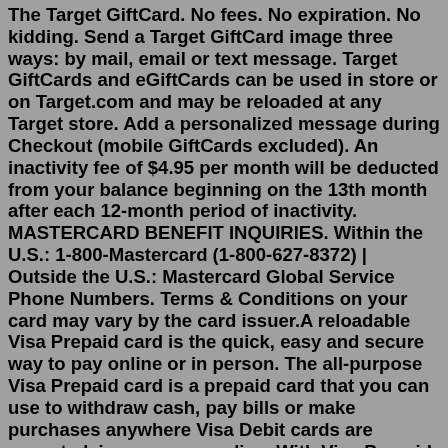The Target GiftCard. No fees. No expiration. No kidding. Send a Target GiftCard image three ways: by mail, email or text message. Target GiftCards and eGiftCards can be used in store or on Target.com and may be reloaded at any Target store. Add a personalized message during Checkout (mobile GiftCards excluded). An inactivity fee of $4.95 per month will be deducted from your balance beginning on the 13th month after each 12-month period of inactivity. MASTERCARD BENEFIT INQUIRIES. Within the U.S.: 1-800-Mastercard (1-800-627-8372) | Outside the U.S.: Mastercard Global Service Phone Numbers. Terms & Conditions on your card may vary by the card issuer.A reloadable Visa Prepaid card is the quick, easy and secure way to pay online or in person. The all-purpose Visa Prepaid card is a prepaid card that you can use to withdraw cash, pay bills or make purchases anywhere Visa Debit cards are accepted, in-person or online. With Visa Prepaid, the benefits are clear Get paid fasterONE VIP Visa. If you would like to support a good cause with your